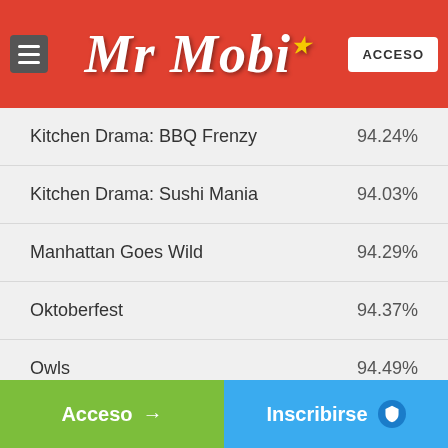Mr Mobi — ACCESO
| Game | RTP |
| --- | --- |
| Kitchen Drama: BBQ Frenzy | 94.24% |
| Kitchen Drama: Sushi Mania | 94.03% |
| Manhattan Goes Wild | 94.29% |
| Oktoberfest | 94.37% |
| Owls | 94.49% |
| Starstruck | 94.22% |
| Tesla Jolt | 94.22% |
Acceso → | Inscribirse